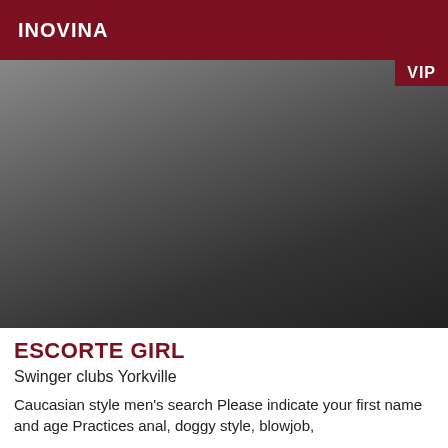INOVINA
[Figure (photo): Person standing in front of mirror wearing grey cardigan and black lingerie, with tattoos visible on torso and legs. VIP badge in top right corner.]
ESCORTE GIRL
Swinger clubs Yorkville
Caucasian style men's search Please indicate your first name and age Practices anal, doggy style, blowjob,